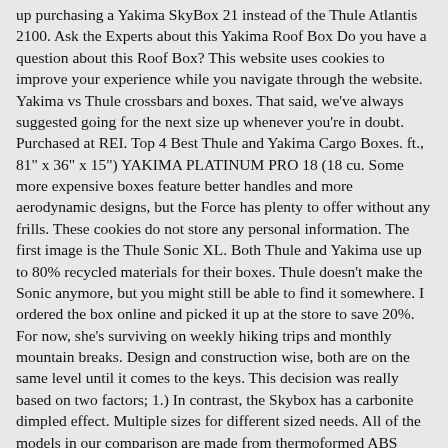up purchasing a Yakima SkyBox 21 instead of the Thule Atlantis 2100. Ask the Experts about this Yakima Roof Box Do you have a question about this Roof Box? This website uses cookies to improve your experience while you navigate through the website. Yakima vs Thule crossbars and boxes. That said, we've always suggested going for the next size up whenever you're in doubt. Purchased at REI. Top 4 Best Thule and Yakima Cargo Boxes. ft., 81" x 36" x 15") YAKIMA PLATINUM PRO 18 (18 cu. Some more expensive boxes feature better handles and more aerodynamic designs, but the Force has plenty to offer without any frills. These cookies do not store any personal information. The first image is the Thule Sonic XL. Both Thule and Yakima use up to 80% recycled materials for their boxes. Thule doesn't make the Sonic anymore, but you might still be able to find it somewhere. I ordered the box online and picked it up at the store to save 20%. For now, she's surviving on weekly hiking trips and monthly mountain breaks. Design and construction wise, both are on the same level until it comes to the keys. This decision was really based on two factors; 1.) In contrast, the Skybox has a carbonite dimpled effect. Multiple sizes for different sized needs. All of the models in our comparison are made from thermoformed ABS plastic. So if parking is tight but you still need to access your luggage, you still can. Yakima SkyBox 18 Carbonite Cargo Box #5. Thule and Yakima are the Pepsi and Coke of